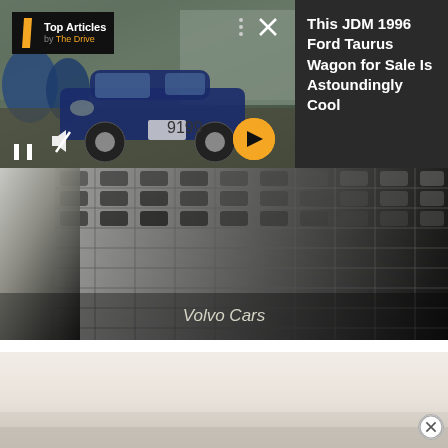[Figure (screenshot): Top Articles by The Drive ad banner showing a blue JDM 1996 Ford Taurus Wagon with orange arrow button, pause and mute controls, close X button, and text: This JDM 1996 Ford Taurus Wagon for Sale Is Astoundingly Cool]
[Figure (photo): Volvo Cars branded video still showing a close-up of a dark mesh/grille texture with the Volvo Cars label overlaid in italic white text]
[Figure (photo): Partially visible blurred automotive image with beige/neutral tones, a close circle dismiss button in bottom right corner]